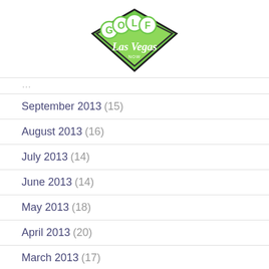[Figure (logo): Golf Las Vegas logo — green diamond shape with 'GOLF' in circular letter badges and 'Las Vegas' in cursive script below]
September 2013 (15)
August 2013 (16)
July 2013 (14)
June 2013 (14)
May 2013 (18)
April 2013 (20)
March 2013 (17)
February 2013 (13)
January 2013 (20)
December 2013 (13)